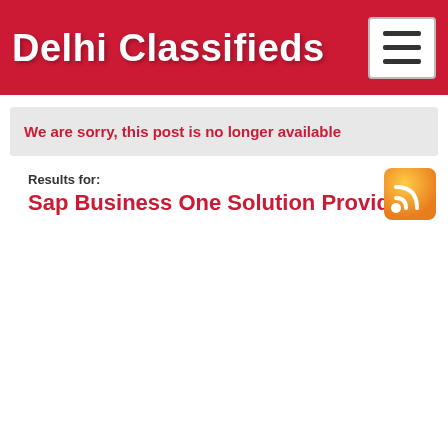Delhi Classifieds
We are sorry, this post is no longer available
Results for: Sap Business One Solution Provider